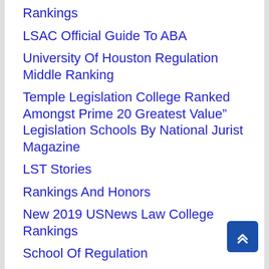Rankings
LSAC Official Guide To ABA
University Of Houston Regulation Middle Ranking
Temple Legislation College Ranked Amongst Prime 20 Greatest Value” Legislation Schools By National Jurist Magazine
LST Stories
Rankings And Honors
New 2019 USNews Law College Rankings
School Of Regulation
Regulation School
College Of Bristol Regulation Faculty
Finest Legislation Faculties 2019